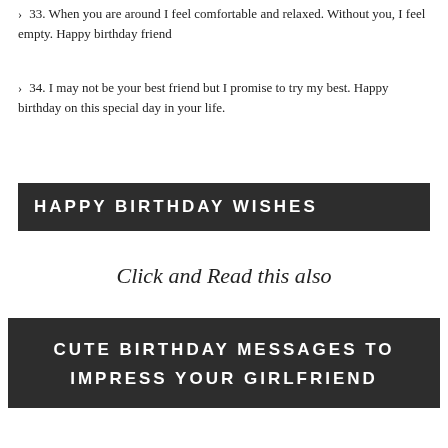33. When you are around I feel comfortable and relaxed. Without you, I feel empty. Happy birthday friend
34. I may not be your best friend but I promise to try my best. Happy birthday on this special day in your life.
HAPPY BIRTHDAY WISHES
Click and Read this also
CUTE BIRTHDAY MESSAGES TO IMPRESS YOUR GIRLFRIEND